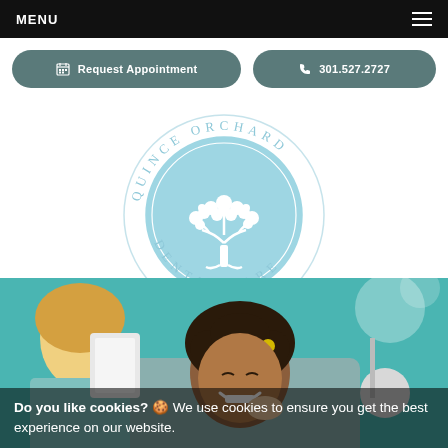MENU  ≡
Request Appointment  301.527.2727
[Figure (logo): Quince Orchard Dental Care circular logo with a white tree illustration on a light blue background, text reading QUINCE ORCHARD around the top and DENTAL CARE around the bottom]
[Figure (photo): Dental office photo showing a smiling young Black girl patient in a dental chair with a blonde dental professional in the background, teal/turquoise wall behind them]
Do you like cookies? 🍪 We use cookies to ensure you get the best experience on our website.